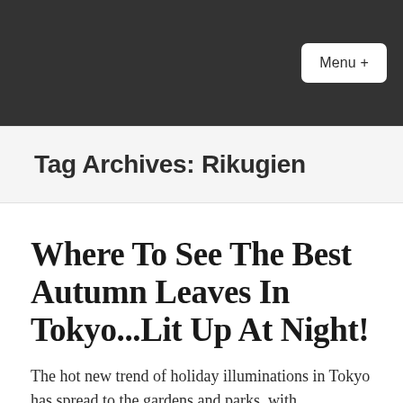Menu +
Tag Archives: Rikugien
Where To See The Best Autumn Leaves In Tokyo...Lit Up At Night!
The hot new trend of holiday illuminations in Tokyo has spread to the gardens and parks, with